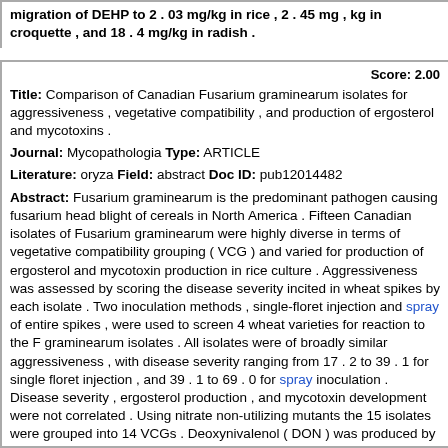migration of DEHP to 2 . 03 mg/kg in rice , 2 . 45 mg , kg in croquette , and 18 . 4 mg/kg in radish .
Score: 2.00
Title: Comparison of Canadian Fusarium graminearum isolates for aggressiveness , vegetative compatibility , and production of ergosterol and mycotoxins .
Journal: Mycopathologia Type: ARTICLE
Literature: oryza Field: abstract Doc ID: pub12014482
Abstract: Fusarium graminearum is the predominant pathogen causing fusarium head blight of cereals in North America . Fifteen Canadian isolates of Fusarium graminearum were highly diverse in terms of vegetative compatibility grouping ( VCG ) and varied for production of ergosterol and mycotoxin production in rice culture . Aggressiveness was assessed by scoring the disease severity incited in wheat spikes by each isolate . Two inoculation methods , single-floret injection and spray of entire spikes , were used to screen 4 wheat varieties for reaction to the F graminearum isolates . All isolates were of broadly similar aggressiveness , with disease severity ranging from 17 . 2 to 39 . 1 for single floret injection , and 39 . 1 to 69 . 0 for spray inoculation . Disease severity , ergosterol production , and mycotoxin development were not correlated . Using nitrate non-utilizing mutants the 15 isolates were grouped into 14 VCGs . Deoxynivalenol ( DON ) was produced by all isolates in rice culture , at levels between 0 . 2 and 249 ppm . 15-acetyldeoxynivalenol was produced by 14 of the 15 isolates at levels between 0 . 4 and 44 . 6 ppm . These results reveal a high level of diversity for several characteristics among F graminearum isolates from Canada .
Matching Sentences: